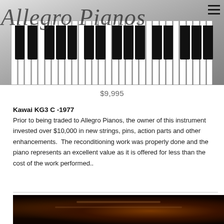[Figure (photo): Piano keyboard photograph with Allegro Pianos logo overlaid on a grey-toned background showing piano keys from an angle]
$9,995
Kawai KG3 C -1977
Prior to being traded to Allegro Pianos, the owner of this instrument invested over $10,000 in new strings, pins, action parts and other enhancements.  The reconditioning work was properly done and the piano represents an excellent value as it is offered for less than the cost of the work performed..
[Figure (photo): Close-up interior photo of a piano showing strings and frame in dark tones with warm amber lighting]